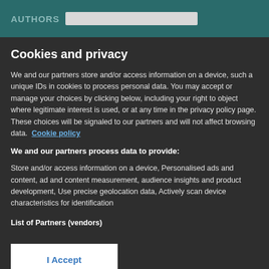AUTHORS
Cookies and privacy
We and our partners store and/or access information on a device, such a unique IDs in cookies to process personal data. You may accept or manage your choices by clicking below, including your right to object where legitimate interest is used, or at any time in the privacy policy page. These choices will be signaled to our partners and will not affect browsing data. Cookie policy
We and our partners process data to provide:
Store and/or access information on a device, Personalised ads and content, ad and content measurement, audience insights and product development, Use precise geolocation data, Actively scan device characteristics for identification
List of Partners (vendors)
I Accept